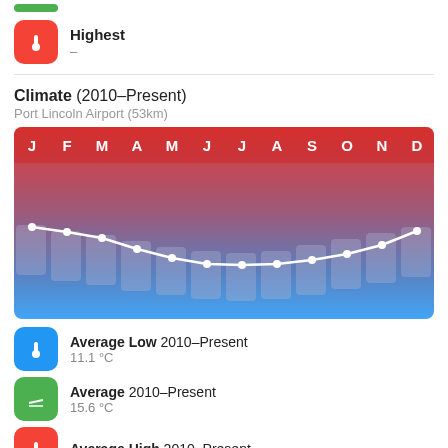[Figure (infographic): Red icon box with thermometer, labeled Highest with dash below]
Highest
–
Climate (2010–Present)
Port Lincoln Airport (53km)
[Figure (line-chart): Climate chart with months J F M A M J J A S O N D]
Average Low 2010–Present
11.1 °C
Average 2010–Present
15.6 °C
Average High 2010–Present